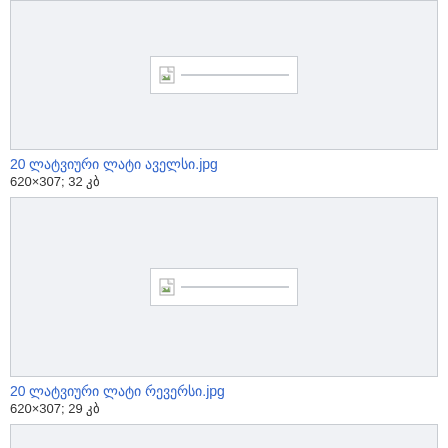[Figure (other): Image placeholder box with broken image icon for 20 latvian lati obverse]
20 ლატვიური ლატი აველსი.jpg
620×307; 32 კბ
[Figure (other): Image placeholder box with broken image icon for 20 latvian lati reverse]
20 ლატვიური ლატი რევერსი.jpg
620×307; 29 კბ
[Figure (other): Image placeholder box at bottom, partially visible]